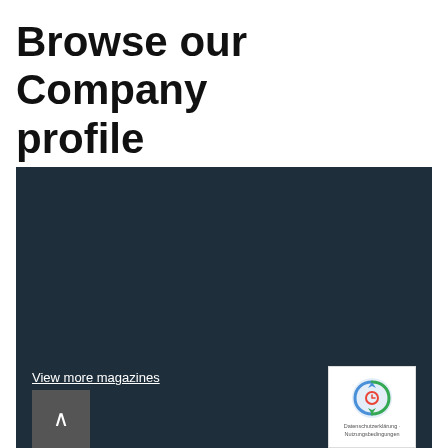Browse our Company profile
[Figure (screenshot): Dark navy blue panel area with embedded magazine viewer widget.]
View more magazines